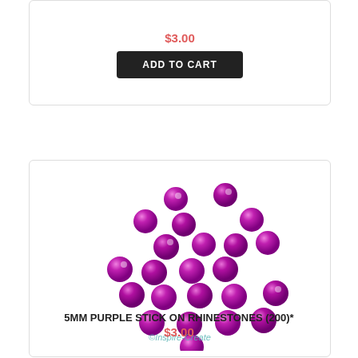$3.00
ADD TO CART
[Figure (photo): Purple metallic stick-on rhinestones (approximately 25 round beads) scattered on white background, with watermark ©Inspire-Create]
5MM PURPLE STICK ON RHINESTONES (200)*
$3.00